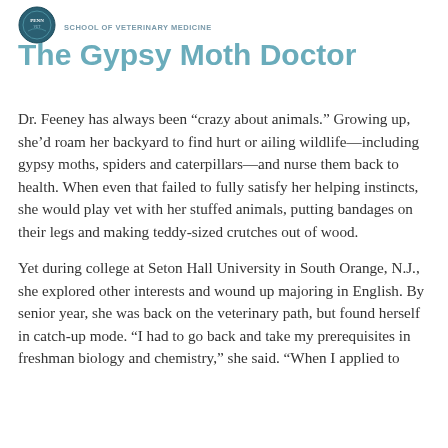SCHOOL OF VETERINARY MEDICINE
The Gypsy Moth Doctor
Dr. Feeney has always been “crazy about animals.” Growing up, she’d roam her backyard to find hurt or ailing wildlife—including gypsy moths, spiders and caterpillars—and nurse them back to health. When even that failed to fully satisfy her helping instincts, she would play vet with her stuffed animals, putting bandages on their legs and making teddy-sized crutches out of wood.
Yet during college at Seton Hall University in South Orange, N.J., she explored other interests and wound up majoring in English. By senior year, she was back on the veterinary path, but found herself in catch-up mode. “I had to go back and take my prerequisites in freshman biology and chemistry,” she said. “When I applied to